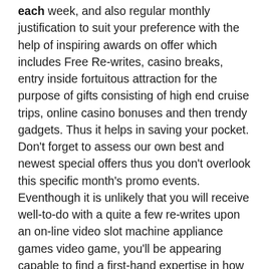each week, and also regular monthly justification to suit your preference with the help of inspiring awards on offer which includes Free Re-writes, casino breaks, entry inside fortuitous attraction for the purpose of gifts consisting of high end cruise trips, online casino bonuses and then trendy gadgets. Thus it helps in saving your pocket. Don't forget to assess our own best and newest special offers thus you don't overlook this specific month's promo events. Eventhough it is unlikely that you will receive well-to-do with a quite a few re-writes upon an on-line video slot machine appliance games video game, you'll be appearing capable to find a first-hand expertise in how it is to have enjoyment from relating to the on-line wagering institution with out working with every precise money. Conducting twenty-one everyone have any likelihood that will help hire in your system and then grown to be well established for the duration of the software, nonetheless not with slot machine game computer games.